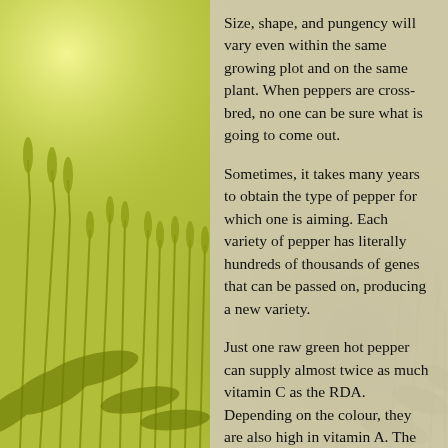Size, shape, and pungency will vary even within the same growing plot and on the same plant. When peppers are cross-bred, no one can be sure what is going to come out.
Sometimes, it takes many years to obtain the type of pepper for which one is aiming. Each variety of pepper has literally hundreds of thousands of genes that can be passed on, producing a new variety.
Just one raw green hot pepper can supply almost twice as much vitamin C as the RDA. Depending on the colour, they are also high in vitamin A. The redder the pepper, the more vitamin A. Mature peppers may have as much as ten times the amount of green peppers.
Carrots contain only a fraction of the carotene found in peppers. They are also high in flavonoids and other phytochemicals